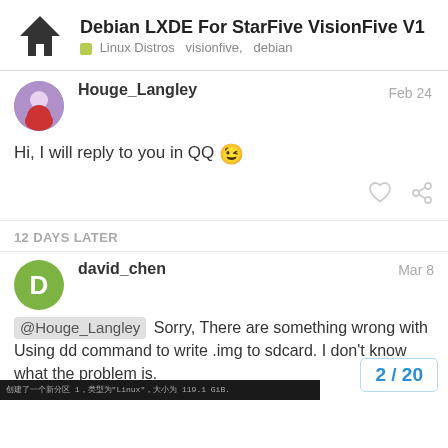Debian LXDE For StarFive VisionFive V1 | Linux Distros  visionfive,  debian
Houge_Langley  Feb 24
Hi, I will reply to you in QQ 😉
12 DAYS LATER
david_chen  Mar 8
@Houge_Langley Sorry, There are something wrong with Using dd command to write .img to sdcard. I don't know what the problem is.
2 / 20